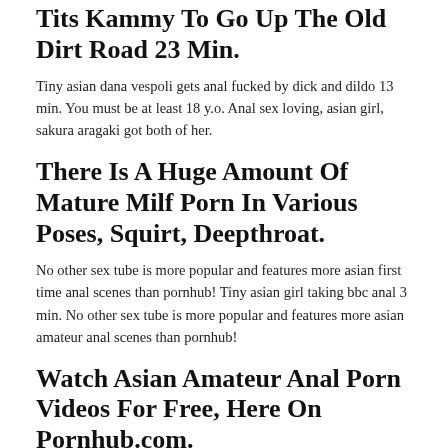Tits Kammy To Go Up The Old Dirt Road 23 Min.
Tiny asian dana vespoli gets anal fucked by dick and dildo 13 min. You must be at least 18 y.o. Anal sex loving, asian girl, sakura aragaki got both of her.
There Is A Huge Amount Of Mature Milf Porn In Various Poses, Squirt, Deepthroat.
No other sex tube is more popular and features more asian first time anal scenes than pornhub! Tiny asian girl taking bbc anal 3 min. No other sex tube is more popular and features more asian amateur anal scenes than pornhub!
Watch Asian Amateur Anal Porn Videos For Free, Here On Pornhub.com.